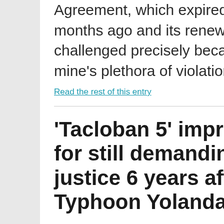Agreement, which expired eight months ago and its renewal challenged precisely because of the mine's plethora of violations.
Read the rest of this entry
'Tacloban 5' imprisoned for still demanding justice 6 years after Typhoon Yolanda